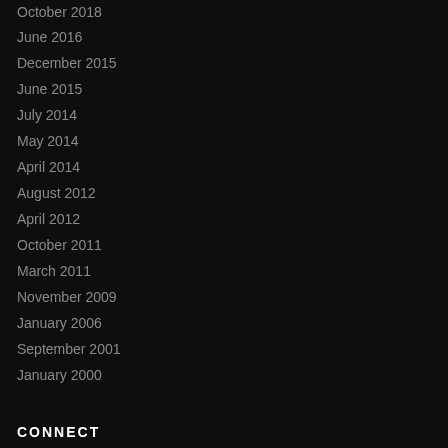October 2018
June 2016
December 2015
June 2015
July 2014
May 2014
April 2014
August 2012
April 2012
October 2011
March 2011
November 2009
January 2006
September 2001
January 2000
CONNECT